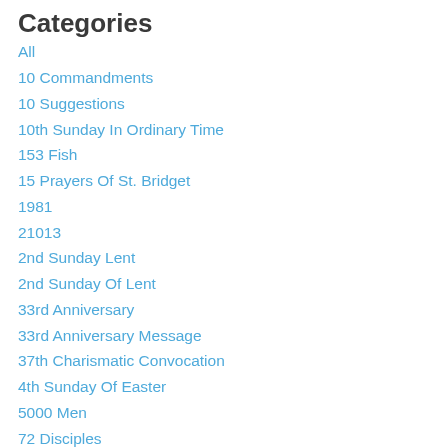Categories
All
10 Commandments
10 Suggestions
10th Sunday In Ordinary Time
153 Fish
15 Prayers Of St. Bridget
1981
21013
2nd Sunday Lent
2nd Sunday Of Lent
33rd Anniversary
33rd Anniversary Message
37th Charismatic Convocation
4th Sunday Of Easter
5000 Men
72 Disciples
7 Gifts
7th Sunday In Ordinary Time
9-11
Abbey